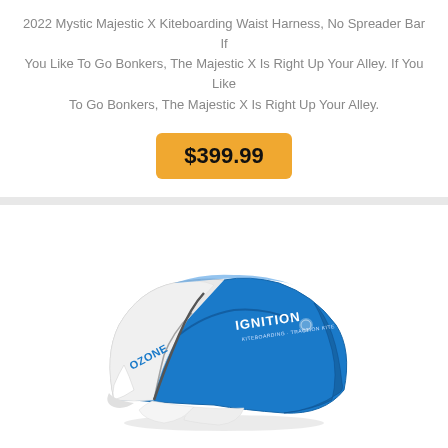2022 Mystic Majestic X Kiteboarding Waist Harness, No Spreader Bar If You Like To Go Bonkers, The Majestic X Is Right Up Your Alley. If You Like To Go Bonkers, The Majestic X Is Right Up Your Alley.
$399.99
[Figure (photo): Ozone Ignition kiteboarding kite in blue and white color, with OZONE and IGNITION branding visible on the canopy.]